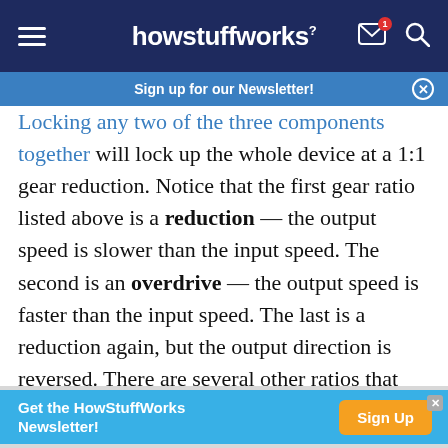howstuffworks
Sign up for our Newsletter!
Locking any two of the three components together will lock up the whole device at a 1:1 gear reduction. Notice that the first gear ratio listed above is a reduction — the output speed is slower than the input speed. The second is an overdrive — the output speed is faster than the input speed. The last is a reduction again, but the output direction is reversed. There are several other ratios that can be gotten out of this planetary gearset, but these are the ones that are relevant to our automatic
Get the HowStuffWorks Newsletter! Sign Up